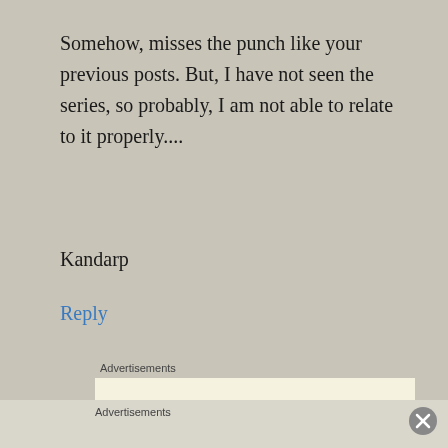Somehow, misses the punch like your previous posts. But, I have not seen the series, so probably, I am not able to relate to it properly....
Kandarp
Reply
Advertisements
[Figure (other): Advertisement box with text 'Professionally' and dots below]
Advertisements